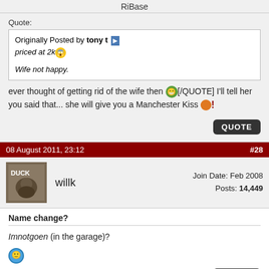RiBase
Quote:
Originally Posted by tony t
priced at 2k

Wife not happy.
ever thought of getting rid of the wife then [/QUOTE] I'll tell her you said that... she will give you a Manchester Kiss
08 August 2011, 23:12  #28
willk
Join Date: Feb 2008
Posts: 14,449
Name change?
Imnotgoen (in the garage)?